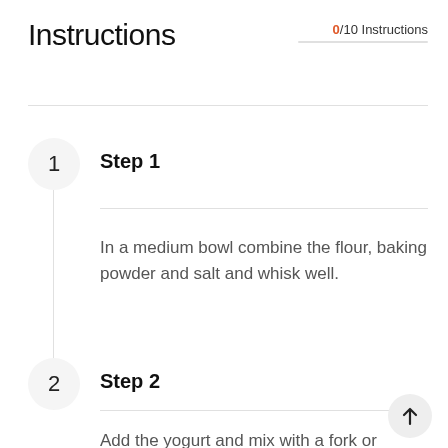Instructions
0/10 Instructions
Step 1
In a medium bowl combine the flour, baking powder and salt and whisk well.
Step 2
Add the yogurt and mix with a fork or